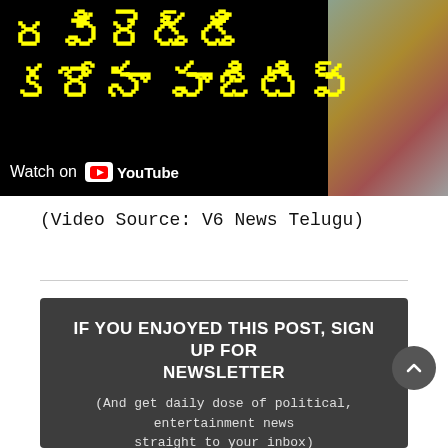[Figure (screenshot): YouTube video thumbnail with yellow Telugu script text on black background reading approximately 'రవిరెడ్డి కరోనా పాజిటివ్' with a person visible on the right side. 'Watch on YouTube' text at bottom left.]
(Video Source: V6 News Telugu)
IF YOU ENJOYED THIS POST, SIGN UP FOR NEWSLETTER (And get daily dose of political, entertainment news straight to your inbox)